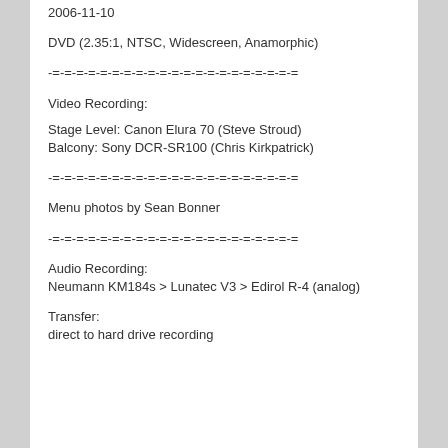2006-11-10
DVD (2.35:1, NTSC, Widescreen, Anamorphic)
-=-=-=-=-=-=-=-=-=-=-=-=-=-=-=-=-=-=-=-=-=
Video Recording:
Stage Level: Canon Elura 70 (Steve Stroud)
Balcony: Sony DCR-SR100 (Chris Kirkpatrick)
-=-=-=-=-=-=-=-=-=-=-=-=-=-=-=-=-=-=-=-=-=
Menu photos by Sean Bonner
-=-=-=-=-=-=-=-=-=-=-=-=-=-=-=-=-=-=-=-=-=
Audio Recording:
Neumann KM184s > Lunatec V3 > Edirol R-4 (analog)
Transfer:
direct to hard drive recording